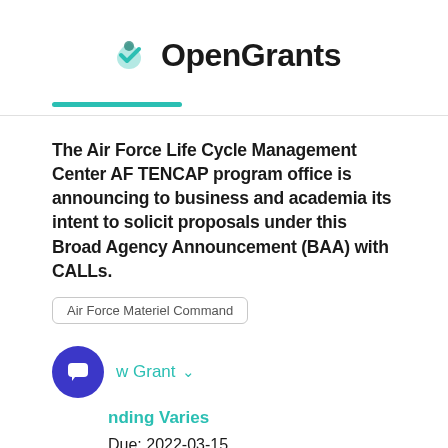[Figure (logo): OpenGrants logo with teal checkmark icon and bold text]
The Air Force Life Cycle Management Center AF TENCAP program office is announcing to business and academia its intent to solicit proposals under this Broad Agency Announcement (BAA) with CALLs.
Air Force Materiel Command
View Grant
Funding Varies
Due: 2022-03-15